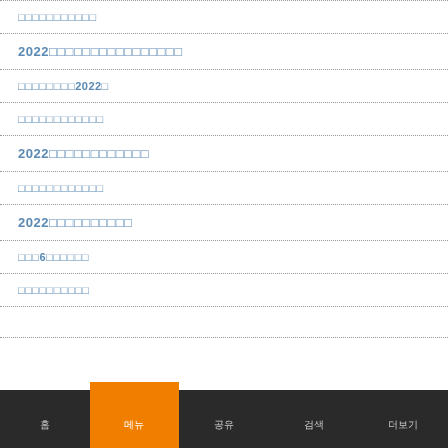□□□□□□□□□□□
2022□□□□□□□□□□□□□□□□
□□□□□□□□2022□
□□□□□□□□□□□□
2022□□□□□□□□□□□□
□□□□□□□□□□□□
2022□□□□□□□□□□
□□□6□□□□□□
□□□□□□□□□□
홈  메뉴  공유  검색  더보기